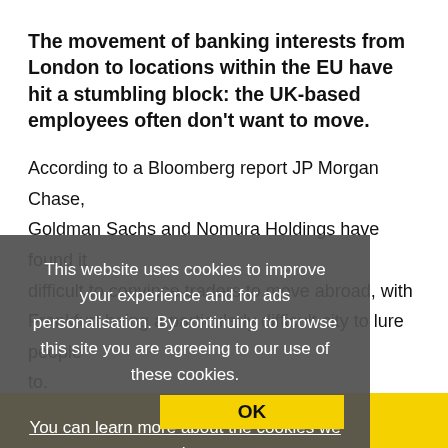The movement of banking interests from London to locations within the EU have hit a stumbling block: the UK-based employees often don't want to move.
According to a Bloomberg report JP Morgan Chase, Goldman Sachs and Nomura Holdings have found it difficult to convince traders to move abroad, with Frankfurt being a particularly difficult city to lure people to.
However, the prevalence of Covid travel restrictions may also be playing a role in people's caution.
Stephane Rambosson, the London-based co-founder of Vici Advisory, an executive search firm, told Bloomberg: "I've got cases of people moving to the Continent and they...
This website uses cookies to improve your experience and for ads personalisation. By continuing to browse this site you are agreeing to our use of these cookies. You can learn more about the cookies we use here.